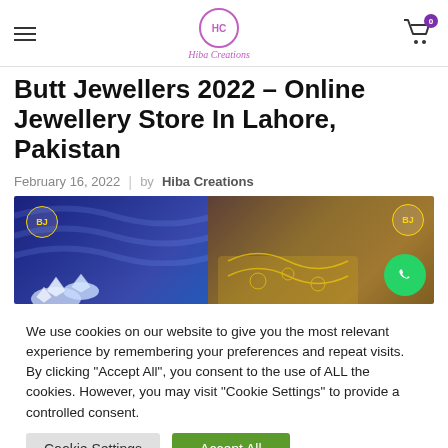HC Hiba Creations — Cart 0
Butt Jewellers 2022 – Online Jewellery Store In Lahore, Pakistan
February 16, 2022  |  by  Hiba Creations
[Figure (photo): Two-panel jewellery store banner: left panel shows BJ logo on dark blue satin background with diamond jewellery; right panel shows gold filigree jewellery on brown/gold background with BJ badge and WhatsApp button]
We use cookies on our website to give you the most relevant experience by remembering your preferences and repeat visits. By clicking "Accept All", you consent to the use of ALL the cookies. However, you may visit "Cookie Settings" to provide a controlled consent.
Cookie Settings   Accept All